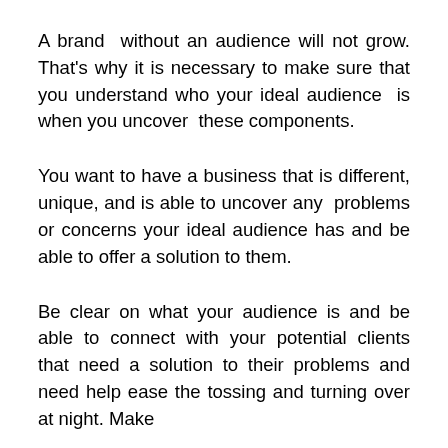A brand without an audience will not grow. That's why it is necessary to make sure that you understand who your ideal audience is when you uncover these components.
You want to have a business that is different, unique, and is able to uncover any problems or concerns your ideal audience has and be able to offer a solution to them.
Be clear on what your audience is and be able to connect with your potential clients that need a solution to their problems and need help ease the tossing and turning over at night. Make